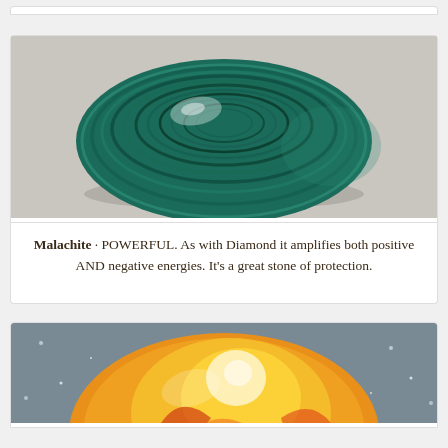[Figure (photo): Top portion of a card showing partial content from previous entry, cropped at top]
[Figure (photo): Malachite gemstone cabochon - oval shaped, deep teal/green with concentric banding patterns, on a grey surface]
Malachite · POWERFUL. As with Diamond it amplifies both positive AND negative energies. It's a great stone of protection.
[Figure (photo): Fire Agate or similar orange/yellow/red translucent gemstone cabochon with fiery internal colours, on a sparkly grey surface, partially cropped at bottom]